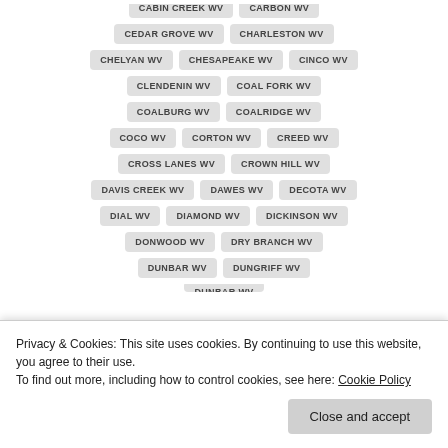CABIN CREEK WV
CARBON WV
CEDAR GROVE WV
CHARLESTON WV
CHELYAN WV
CHESAPEAKE WV
CINCO WV
CLENDENIN WV
COAL FORK WV
COALBURG WV
COALRIDGE WV
COCO WV
CORTON WV
CREED WV
CROSS LANES WV
CROWN HILL WV
DAVIS CREEK WV
DAWES WV
DECOTA WV
DIAL WV
DIAMOND WV
DICKINSON WV
DONWOOD WV
DRY BRANCH WV
DUNBAR WV
DUNGRIFF WV
Privacy & Cookies: This site uses cookies. By continuing to use this website, you agree to their use. To find out more, including how to control cookies, see here: Cookie Policy
Close and accept